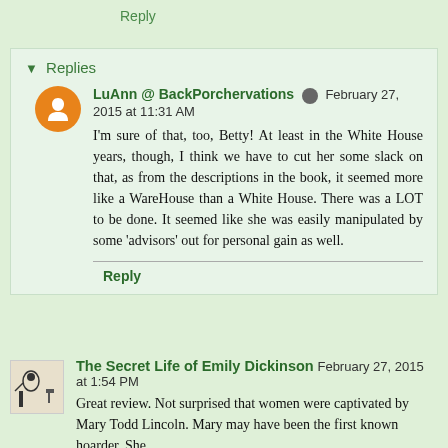Reply
▾ Replies
LuAnn @ BackPorchervations  February 27, 2015 at 11:31 AM
I'm sure of that, too, Betty! At least in the White House years, though, I think we have to cut her some slack on that, as from the descriptions in the book, it seemed more like a WareHouse than a White House. There was a LOT to be done. It seemed like she was easily manipulated by some 'advisors' out for personal gain as well.
Reply
The Secret Life of Emily Dickinson  February 27, 2015 at 1:54 PM
Great review. Not surprised that women were captivated by Mary Todd Lincoln. Mary may have been the first known hoarder. She